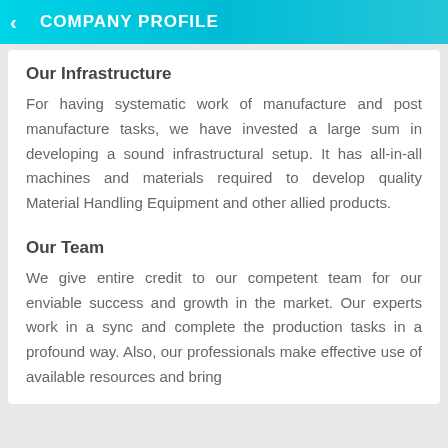COMPANY PROFILE
Our Infrastructure
For having systematic work of manufacture and post manufacture tasks, we have invested a large sum in developing a sound infrastructural setup. It has all-in-all machines and materials required to develop quality Material Handling Equipment and other allied products.
Our Team
We give entire credit to our competent team for our enviable success and growth in the market. Our experts work in a sync and complete the production tasks in a profound way. Also, our professionals make effective use of available resources and bring